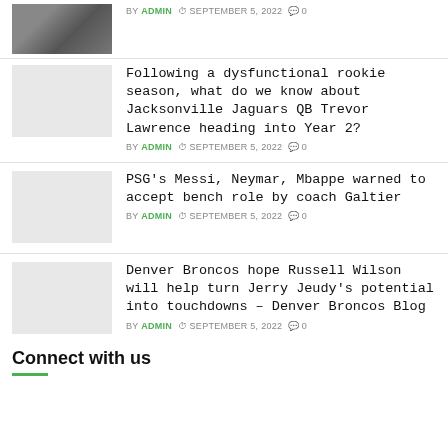[Figure (photo): Partial boxing/sports photo thumbnail at top]
BY ADMIN  SEPTEMBER 5, 2022  0
[Figure (photo): Gray placeholder thumbnail for Jacksonville Jaguars article]
Following a dysfunctional rookie season, what do we know about Jacksonville Jaguars QB Trevor Lawrence heading into Year 2?
BY ADMIN  SEPTEMBER 5, 2022  0
[Figure (photo): Gray placeholder thumbnail for PSG article]
PSG's Messi, Neymar, Mbappe warned to accept bench role by coach Galtier
BY ADMIN  SEPTEMBER 5, 2022  0
[Figure (photo): Gray placeholder thumbnail for Denver Broncos article]
Denver Broncos hope Russell Wilson will help turn Jerry Jeudy's potential into touchdowns – Denver Broncos Blog
BY ADMIN  SEPTEMBER 5, 2022  0
Connect with us